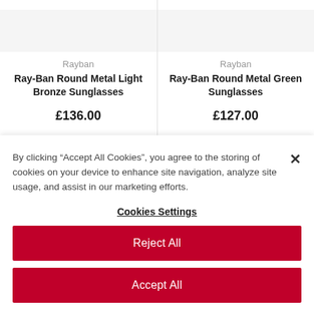Rayban
Ray-Ban Round Metal Light Bronze Sunglasses
£136.00
Rayban
Ray-Ban Round Metal Green Sunglasses
£127.00
By clicking “Accept All Cookies”, you agree to the storing of cookies on your device to enhance site navigation, analyze site usage, and assist in our marketing efforts.
Cookies Settings
Reject All
Accept All